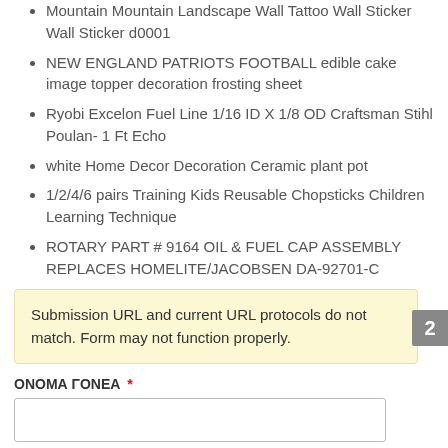Mountain Mountain Landscape Wall Tattoo Wall Sticker Wall Sticker d0001
NEW ENGLAND PATRIOTS FOOTBALL edible cake image topper decoration frosting sheet
Ryobi Excelon Fuel Line 1/16 ID X 1/8 OD Craftsman Stihl Poulan- 1 Ft Echo
white Home Decor Decoration Ceramic plant pot
1/2/4/6 pairs Training Kids Reusable Chopsticks Children Learning Technique
ROTARY PART # 9164 OIL & FUEL CAP ASSEMBLY REPLACES HOMELITE/JACOBSEN DA-92701-C
Submission URL and current URL protocols do not match. Form may not function properly.
ΟΝΟΜΑ ΓΟΝΕΑ *